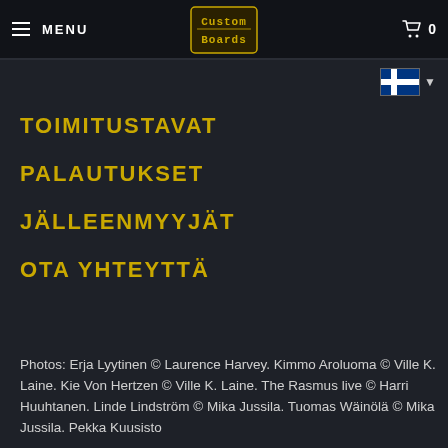MENU | CustomBoards logo | 🛒 0
[Figure (logo): CustomBoards logo in pixel/retro style text]
[Figure (illustration): Finnish flag icon with dropdown arrow]
TOIMITUSTAVAT
PALAUTUKSET
JÄLLEENMYYJÄT
OTA YHTEYTTÄ
Photos: Erja Lyytinen © Laurence Harvey. Kimmo Aroluoma © Ville K. Laine. Kie Von Hertzen © Ville K. Laine. The Rasmus live © Harri Huuhtanen. Linde Lindström © Mika Jussila. Tuomas Wäinölä © Mika Jussila. Pekka Kuusisto